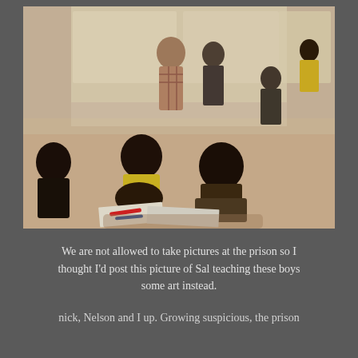[Figure (photo): A photograph showing children sitting on a floor drawing or doing art, with adults or other figures standing near windows in the background, in what appears to be a simple room with large windows letting in bright light.]
We are not allowed to take pictures at the prison so I thought I'd post this picture of Sal teaching these boys some art instead.
nick, Nelson and I up. Growing suspicious, the prison